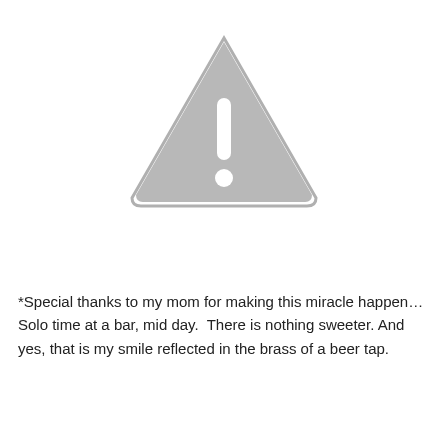[Figure (illustration): A grey warning triangle icon with an exclamation mark (!) inside, on a white background. The triangle has rounded corners and a thick grey border.]
*Special thanks to my mom for making this miracle happen… Solo time at a bar, mid day.  There is nothing sweeter. And yes, that is my smile reflected in the brass of a beer tap.